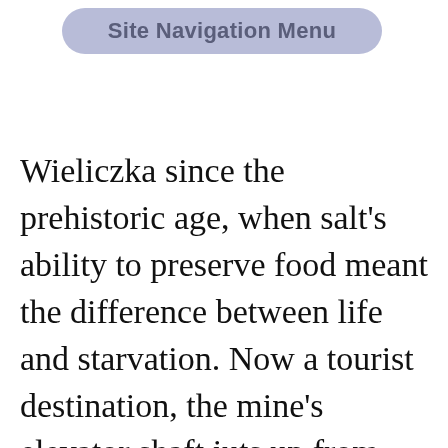Site Navigation Menu
Wieliczka since the prehistoric age, when salt's ability to preserve food meant the difference between life and starvation. Now a tourist destination, the mine's elevator shaft juts up from the earth adjacent to a building resembling a Bavarian tram station. We skipped the